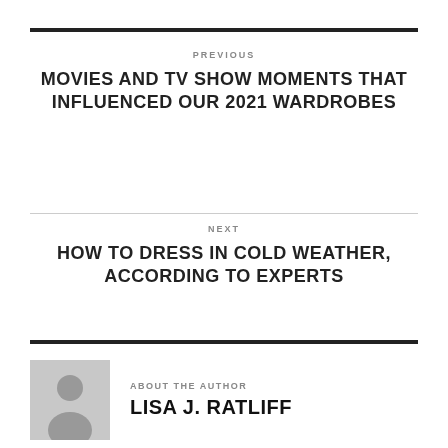PREVIOUS
MOVIES AND TV SHOW MOMENTS THAT INFLUENCED OUR 2021 WARDROBES
NEXT
HOW TO DRESS IN COLD WEATHER, ACCORDING TO EXPERTS
ABOUT THE AUTHOR
LISA J. RATLIFF
[Figure (illustration): Generic author avatar placeholder showing a silhouette of a person on a gray background]